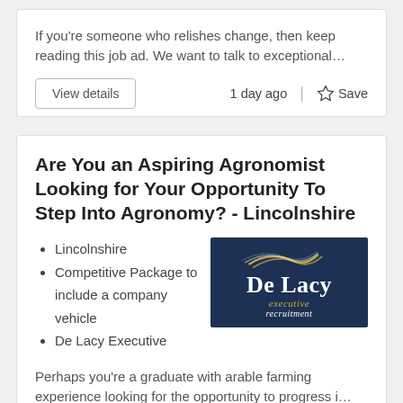If you're someone who relishes change, then keep reading this job ad. We want to talk to exceptional…
1 day ago
Save
Are You an Aspiring Agronomist Looking for Your Opportunity To Step Into Agronomy? - Lincolnshire
Lincolnshire
Competitive Package to include a company vehicle
De Lacy Executive
[Figure (logo): De Lacy executive recruitment logo on dark navy background with gold swoosh design]
Perhaps you're a graduate with arable farming experience looking for the opportunity to progress i…
2 days ago
Save